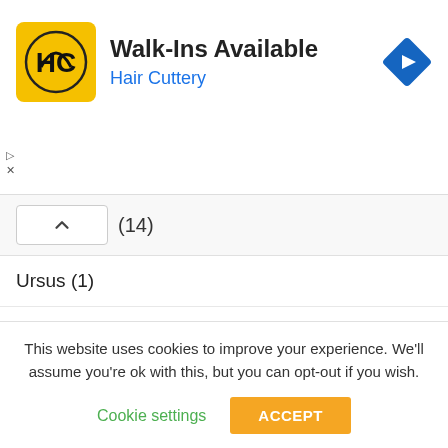[Figure (screenshot): Hair Cuttery advertisement banner with yellow HC logo, 'Walk-Ins Available' heading, 'Hair Cuttery' subtitle in blue, and a blue diamond navigation icon on the right]
(14)
Ursus (1)
Valtra (4)
Ventrac (1)
Versatile (1)
Volvo (1)
Wheel Horse (20)
This website uses cookies to improve your experience. We'll assume you're ok with this, but you can opt-out if you wish.
Cookie settings   ACCEPT